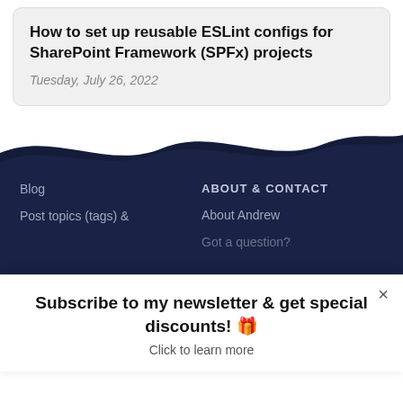How to set up reusable ESLint configs for SharePoint Framework (SPFx) projects
Tuesday, July 26, 2022
[Figure (illustration): Dark navy blue wave graphic transitioning from white background to dark footer section]
Blog
Post topics (tags) &
ABOUT & CONTACT
About Andrew
Got a question?
Subscribe to my newsletter & get special discounts! 🎁
Click to learn more